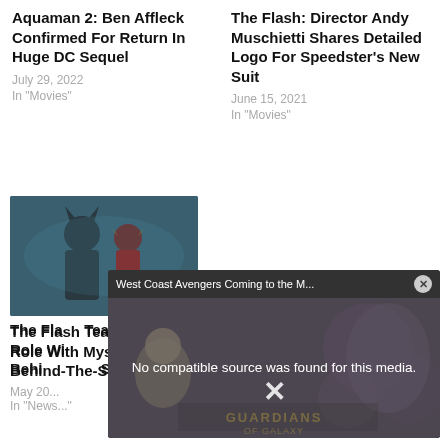Aquaman 2: Ben Affleck Confirmed For Return In Huge DC Sequel
July 29, 2022
In "Movies"
The Flash: Director Andy Muschietti Shares Detailed Logo For Speedster's New Suit
June 15, 2021
In "Movies"
[Figure (photo): Batman and The Flash standing together in a dark scene]
The Flash Teases Batman's Role With Mysterious New Behind-The-Scenes Photo
May 20...
In "News..."
[Figure (screenshot): Video overlay showing 'West Coast Avengers Coming to the M...' with message 'No compatible source was found for this media.' over a Guardians of the Galaxy background image]